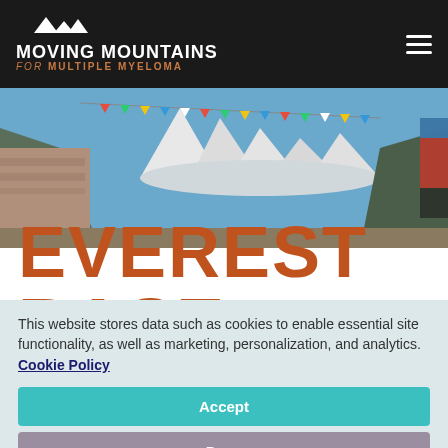Moving Mountains for Multiple Myeloma
[Figure (photo): Mountain landscape with colorful prayer flags, stone wall with carvings, and snow-capped peaks under blue sky]
EVEREST BASE
This website stores data such as cookies to enable essential site functionality, as well as marketing, personalization, and analytics. Cookie Policy
Accept
Deny